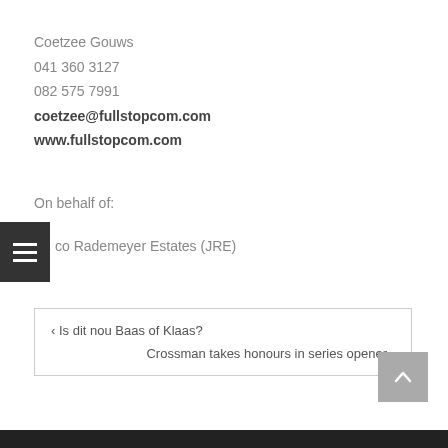Coetzee Gouws
041 360 3127
082 575 7991
coetzee@fullstopcom.com
www.fullstopcom.com
On behalf of:
co Rademeyer Estates (JRE)
‹ Is dit nou Baas of Klaas?
Crossman takes honours in series opener ›